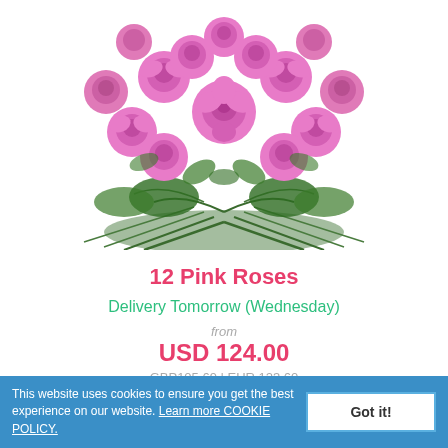[Figure (photo): Bouquet of 12 pink roses arranged with green fern leaves on a white background]
12 Pink Roses
Delivery Tomorrow (Wednesday)
from
USD 124.00
GBP105.69 | EUR 123.60
This website uses cookies to ensure you get the best experience on our website. Learn more COOKIE POLICY.